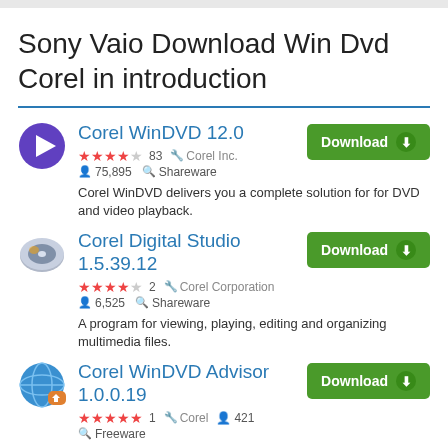Sony Vaio Download Win Dvd Corel in introduction
Corel WinDVD 12.0 | ★★★★☆ 83 | Corel Inc. | 75,895 | Shareware | Corel WinDVD delivers you a complete solution for for DVD and video playback.
Corel Digital Studio 1.5.39.12 | ★★★★☆ 2 | Corel Corporation | 6,525 | Shareware | A program for viewing, playing, editing and organizing multimedia files.
Corel WinDVD Advisor 1.0.0.19 | ★★★★★ 1 | Corel | 421 | Freeware